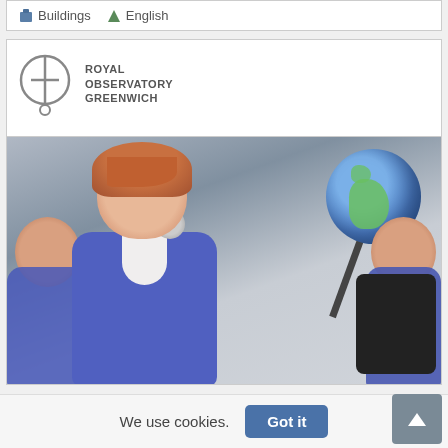Buildings  English
[Figure (logo): Royal Observatory Greenwich logo — circular graphic with a cross/pendulum symbol, text reading ROYAL OBSERVATORY GREENWICH]
[Figure (photo): School children in blue uniforms looking at an orrery model with a globe of the Earth mounted on a mechanical arm. A girl in the centre is smiling. Another child is visible on the right, and part of a child's head on the left. A camera device is visible in the foreground right.]
We use cookies.  Got it